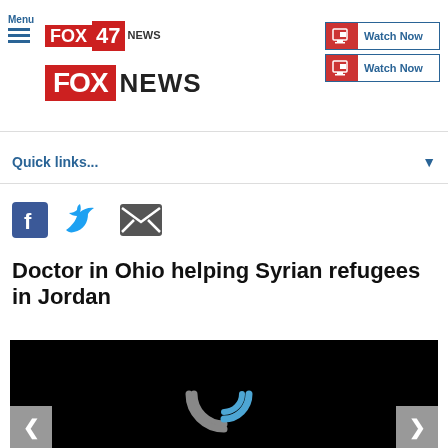FOX 47 NEWS — Menu | Watch Now
Quick links...
[Figure (screenshot): Social share icons: Facebook, Twitter, Email]
Doctor in Ohio helping Syrian refugees in Jordan
[Figure (screenshot): Video player with loading spinner on black background, previous and next navigation arrows]